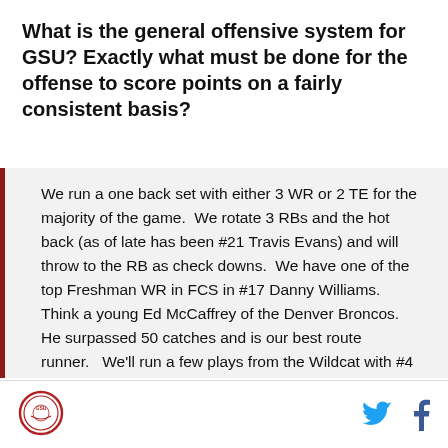What is the general offensive system for GSU? Exactly what must be done for the offense to score points on a fairly consistent basis?
We run a one back set with either 3 WR or 2 TE for the majority of the game.  We rotate 3 RBs and the hot back (as of late has been #21 Travis Evans) and will throw to the RB as check downs.  We have one of the top Freshman WR in FCS in #17 Danny Williams.  Think a young Ed McCaffrey of the Denver Broncos.  He surpassed 50 catches and is our best route runner.   We'll run a few plays from the Wildcat with #4 Kelton Hill who can also throw a little but is not very accurate.  Our pass protection
[Figure (logo): Circular logo with red border]